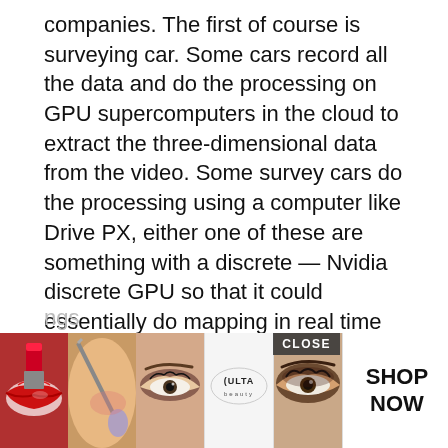companies. The first of course is surveying car. Some cars record all the data and do the processing on GPU supercomputers in the cloud to extract the three-dimensional data from the video. Some survey cars do the processing using a computer like Drive PX, either one of these are something with a discrete — Nvidia discrete GPU so that it could essentially do mapping in real time inside the car, so that's survey car.
Number two is the GPU supercomputer that's done — that's inside the cloud for mapping. Number three, the interface of data, the exchange of data so that our car can always see the HD map in the nearby surroundings of the... conti...
[Figure (photo): Advertisement banner showing makeup/beauty product photos (lips with lipstick, makeup brush, eyes with eyeshadow, Ulta Beauty logo, eye close-up) with SHOP NOW button and CLOSE button overlay]